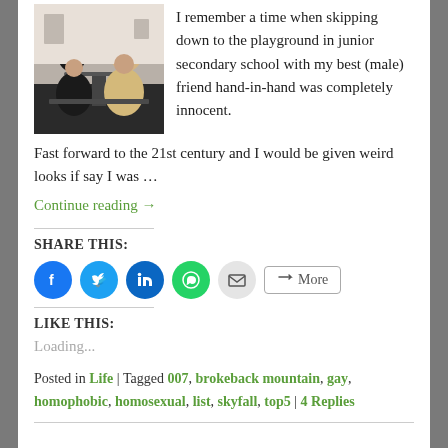[Figure (photo): Photo of two people at a restaurant/cafe setting, one wearing a beige blazer]
I remember a time when skipping down to the playground in junior secondary school with my best (male) friend hand-in-hand was completely innocent. Fast forward to the 21st century and I would be given weird looks if say I was …
Continue reading →
SHARE THIS:
Social share icons: Facebook, Twitter, LinkedIn, WhatsApp, Email, More
LIKE THIS:
Loading...
Posted in Life | Tagged 007, brokeback mountain, gay, homophobic, homosexual, list, skyfall, top5 | 4 Replies